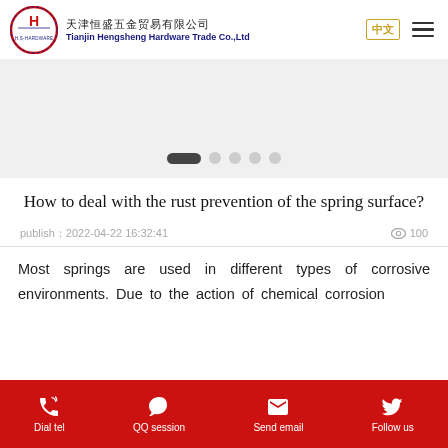Tianjin Hengsheng Hardware Trade Co.,Ltd
[Figure (other): Slider/carousel with pagination dots — one active dark pill and four grey circles]
How to deal with the rust prevention of the spring surface?
publish：2022-04-22 16:32:41   © 100
Most springs are used in different types of corrosive environments. Due to the action of chemical corrosion
Dial tel   QQ session   Send email   Follow us